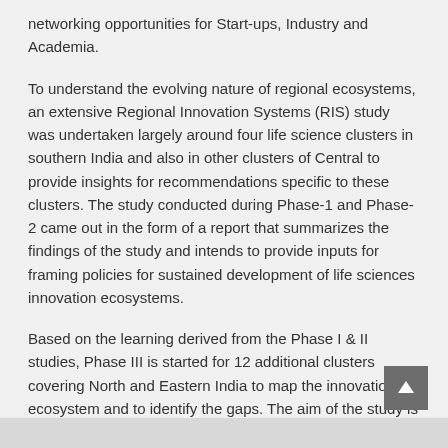networking opportunities for Start-ups, Industry and Academia.
To understand the evolving nature of regional ecosystems, an extensive Regional Innovation Systems (RIS) study was undertaken largely around four life science clusters in southern India and also in other clusters of Central to provide insights for recommendations specific to these clusters. The study conducted during Phase-1 and Phase-2 came out in the form of a report that summarizes the findings of the study and intends to provide inputs for framing policies for sustained development of life sciences innovation ecosystems.
Based on the learning derived from the Phase I & II studies, Phase III is started for 12 additional clusters covering North and Eastern India to map the innovation ecosystem and to identify the gaps. The aim of the study is to provide a complete holistic picture of innovation ecosystem for all clusters.